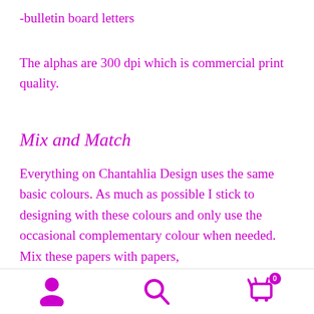-bulletin board letters
The alphas are 300 dpi which is commercial print quality.
Mix and Match
Everything on Chantahlia Design uses the same basic colours. As much as possible I stick to designing with these colours and only use the occasional complementary colour when needed. Mix these papers with papers,
Navigation icons: user, search, cart (0)